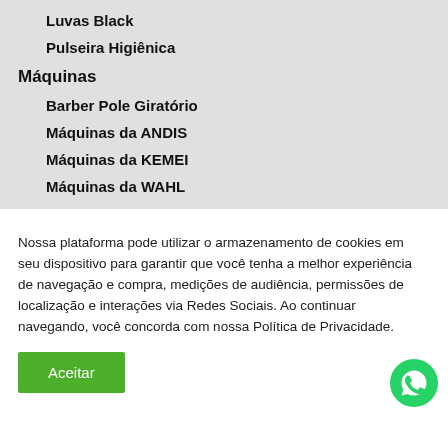Luvas Black
Pulseira Higiênica
Máquinas
Barber Pole Giratório
Máquinas da ANDIS
Máquinas da KEMEI
Máquinas da WAHL
Nossa plataforma pode utilizar o armazenamento de cookies em seu dispositivo para garantir que você tenha a melhor experiência de navegação e compra, medições de audiência, permissões de localização e interações via Redes Sociais. Ao continuar navegando, você concorda com nossa Política de Privacidade.
Aceitar